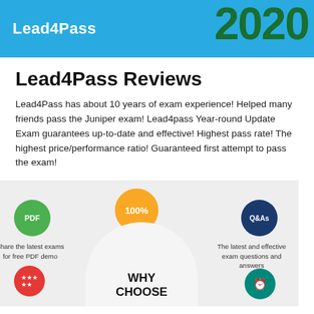Lead4Pass 2020
Lead4Pass Reviews
Lead4Pass has about 10 years of exam experience! Helped many friends pass the Juniper exam! Lead4pass Year-round Update Exam guarantees up-to-date and effective! Highest pass rate! The highest price/performance ratio! Guaranteed first attempt to pass the exam!
[Figure (infographic): Infographic showing Lead4Pass features: PDF circle (Share the latest exams for free PDF demo), 100% pass guarantee circle, Q&As circle (The latest and effective exam questions and answers), star/rating circle, clock circle, and a central dome with WHY CHOOSE text.]